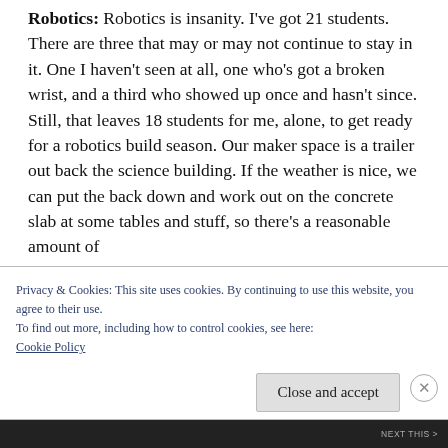Robotics: Robotics is insanity. I've got 21 students. There are three that may or may not continue to stay in it. One I haven't seen at all, one who's got a broken wrist, and a third who showed up once and hasn't since. Still, that leaves 18 students for me, alone, to get ready for a robotics build season. Our maker space is a trailer out back the science building. If the weather is nice, we can put the back down and work out on the concrete slab at some tables and stuff, so there's a reasonable amount of
Privacy & Cookies: This site uses cookies. By continuing to use this website, you agree to their use.
To find out more, including how to control cookies, see here:
Cookie Policy
Close and accept